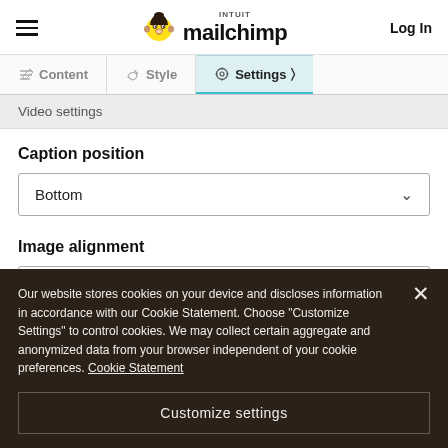Intuit Mailchimp — Log In
Content | Style | Settings
Video settings
Caption position
Bottom
Image alignment
Left
Our website stores cookies on your device and discloses information in accordance with our Cookie Statement. Choose "Customize Settings" to control cookies. We may collect certain aggregate and anonymized data from your browser independent of your cookie preferences. Cookie Statement
Customize settings